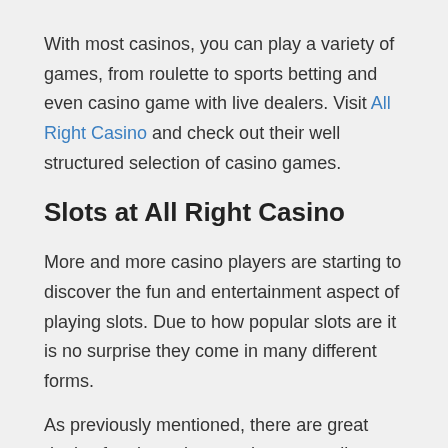With most casinos, you can play a variety of games, from roulette to sports betting and even casino game with live dealers. Visit All Right Casino and check out their well structured selection of casino games.
Slots at All Right Casino
More and more casino players are starting to discover the fun and entertainment aspect of playing slots. Due to how popular slots are it is no surprise they come in many different forms.
As previously mentioned, there are great deals of various slots, so that as a online gambler you can obtain as much variation as possible. On top of that, game developers are always trying to make better profit chances, so you can get increased wins.